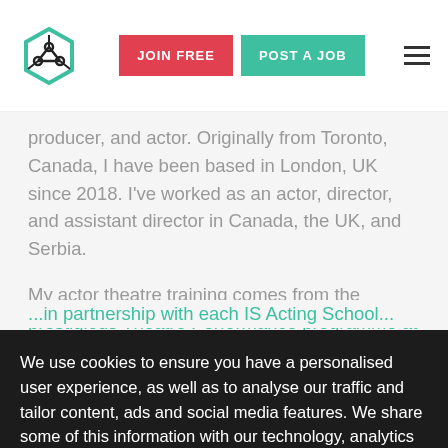[Figure (logo): Hexagonal network logo icon in teal and dark outline]
JOIN FREE   POST A JOB
producer, and actor. Originally from Toronto, Canada, I have been based in London, UK since 2018. I've worked as an actor, director, and assistant director in Canada, the UK, and Serbia.
My actor theatre training comes from the prestigious Theatre Performance programme at
We use cookies to ensure you have a personalised user experience, as well as to analyse our traffic and tailor content, ads and social media features. We share some of this information with our technology, analytics and marketing partners. Privacy Policy
ACCEPT COOKIES
...focus on new work development